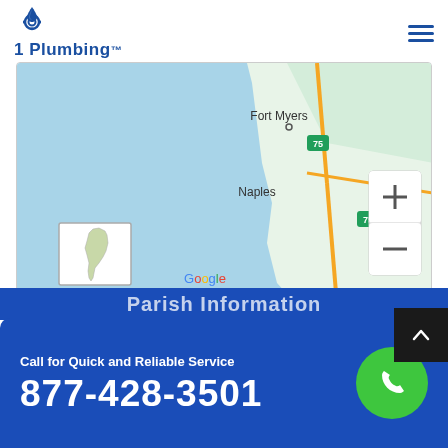1 Plumbing
[Figure (map): Google Maps showing Fort Myers, Naples area in Florida with Gulf of Mexico. Shows route 75, zoom controls (+/-), a minimap inset of Florida, Google logo, and attribution: Keyboard shortcuts | Map data ©2022 Google, INEGI | Terms of Use]
Parish Information
Call for Quick and Reliable Service
877-428-3501